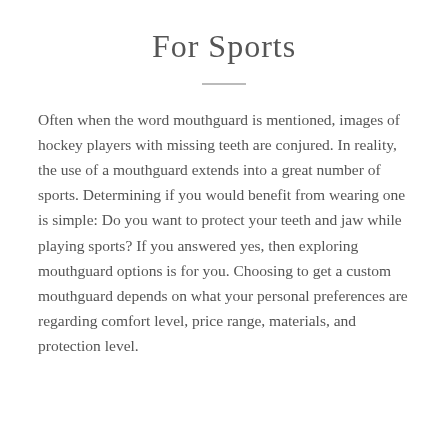For Sports
Often when the word mouthguard is mentioned, images of hockey players with missing teeth are conjured. In reality, the use of a mouthguard extends into a great number of sports. Determining if you would benefit from wearing one is simple: Do you want to protect your teeth and jaw while playing sports? If you answered yes, then exploring mouthguard options is for you. Choosing to get a custom mouthguard depends on what your personal preferences are regarding comfort level, price range, materials, and protection level.